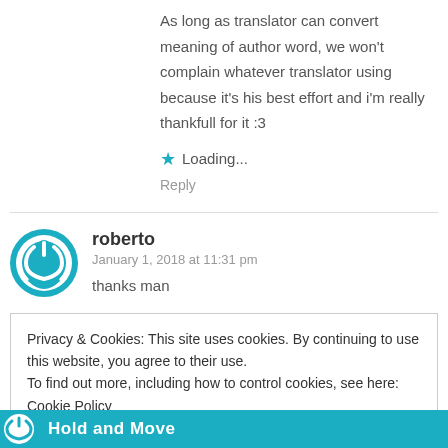As long as translator can convert meaning of author word, we won't complain whatever translator using because it's his best effort and i'm really thankfull for it :3
★ Loading...
Reply
roberto
January 1, 2018 at 11:31 pm
thanks man
Privacy & Cookies: This site uses cookies. By continuing to use this website, you agree to their use.
To find out more, including how to control cookies, see here: Cookie Policy
Close and accept
Hold and Move